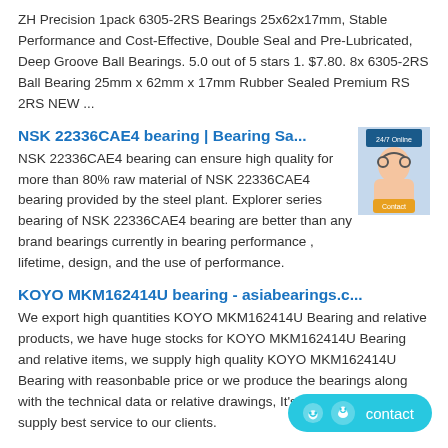ZH Precision 1pack 6305-2RS Bearings 25x62x17mm, Stable Performance and Cost-Effective, Double Seal and Pre-Lubricated, Deep Groove Ball Bearings. 5.0 out of 5 stars 1. $7.80. 8x 6305-2RS Ball Bearing 25mm x 62mm x 17mm Rubber Sealed Premium RS 2RS NEW ...
NSK 22336CAE4 bearing | Bearing Sa...
NSK 22336CAE4 bearing can ensure high quality for more than 80% raw material of NSK 22336CAE4 bearing provided by the steel plant. Explorer series bearing of NSK 22336CAE4 bearing are better than any brand bearings currently in bearing performance , lifetime, design, and the use of performance.
[Figure (photo): Customer service representative image with orange button]
KOYO MKM162414U bearing - asiabearings.c...
We export high quantities KOYO MKM162414U Bearing and relative products, we have huge stocks for KOYO MKM162414U Bearing and relative items, we supply high quality KOYO MKM162414U Bearing with reasonbable price or we produce the bearings along with the technical data or relative drawings, It's priority to us to supply best service to our clients.
Перечень запчастей и принадлежностей - страница 21...
fag 23148b.mb.c2 double row spherical roller bearing fag 23168bk.mb.c4.t52bw.w209b double row spherical roller 24184b.c3 double row spherical roller bearing fag angular contact ball bearing
[Figure (other): Contact button with smiley icon]